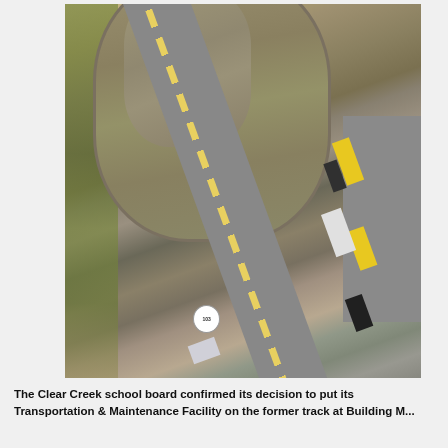[Figure (photo): Aerial satellite view of a school track and maintenance facility area. Shows an oval-shaped running track on a dry field, a diagonal road (Route 103) with yellow center line markings, a parking lot with yellow school buses and other vehicles, and surrounding scrub/brush vegetation. The road marker shows '103'.]
The Clear Creek school board confirmed its decision to put its Transportation & Maintenance Facility on the former track at Building M... [text continues]